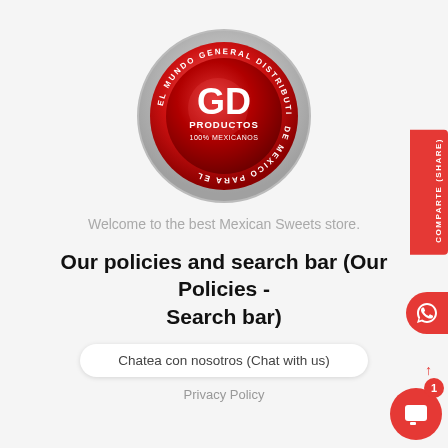[Figure (logo): GD Productos circular logo with red gradient background and text 'EL MUNDO GENERAL DISTRIBUTION DE MEXICO PARA EL' around the border, GD in white letters in center, 'PRODUCTOS 100% MEXICANOS' beneath]
Welcome to the best Mexican Sweets store.
Our policies and search bar (Our Policies - Search bar)
Chatea con nosotros (Chat with us)
Privacy Policy